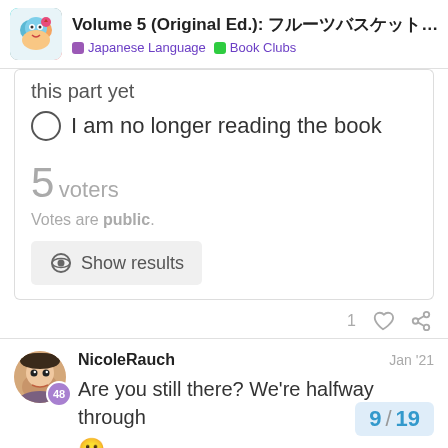Volume 5 (Original Ed.): フルーツバスケット ♡ Fruits Basket ... | Japanese Language | Book Clubs
this part yet
I am no longer reading the book
5 voters
Votes are public.
Show results
1
NicoleRauch  Jan '21
Are you still there? We're halfway through
9 / 19